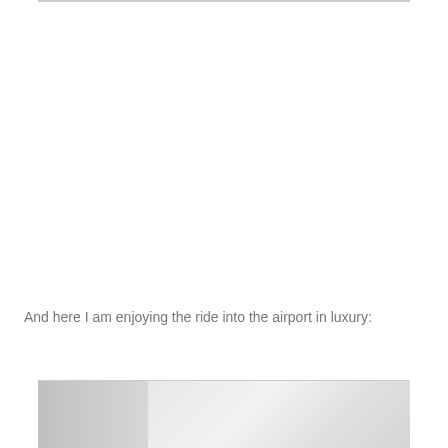And here I am enjoying the ride into the airport in luxury:
[Figure (photo): Partial view of a luxury vehicle interior/exterior, cropped at page bottom]